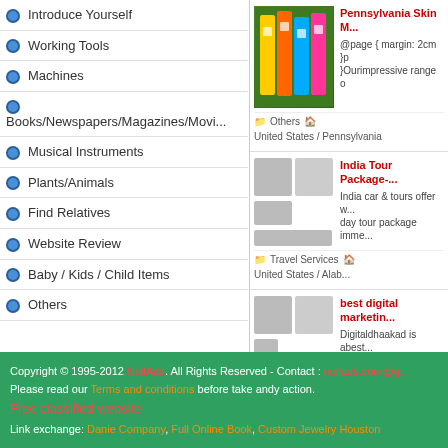Introduce Yourself
Working Tools
Machines
Books/Newspapers/Magazines/Movies
Musical Instruments
Plants/Animals
Find Relatives
Website Review
Baby / Kids / Child Items
Others
[Figure (photo): Pennsylvania Skin Machine - slot machines image]
Pennsylvania Skin M... @page { margin: 2cm } }Ourimpressive range o
Others  United States / Pennsylvania
[Figure (photo): India Tour Package thumbnail images]
India Tour Package- India car & tours offer w... day tour package imme...
Travel Services  United States / Alab...
[Figure (photo): best digital marketing thumbnail images]
best digital marketin... Digitaldhaakad is abest... most significant leading
Advertising & Marketing Services  In...
Copyright © 1995-2012 NullAds. All Rights Reserved - Contact : nullads.com@g... Please read our Terms and conditions before take andy action. Free classified website Link exchange: Danie Company, Full Online Book, Custom Jewelry Houston